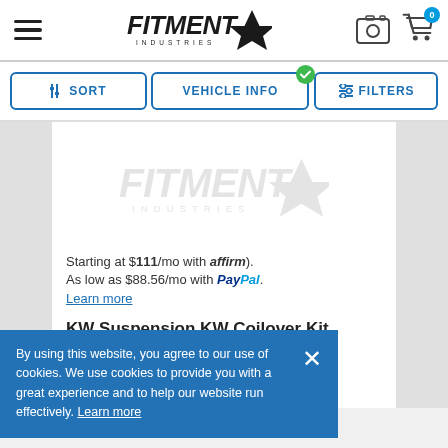[Figure (logo): Fitment Industries logo in header]
SORT
VEHICLE INFO
FILTERS
[Figure (logo): Fitment Industries watermark logo on product card]
By using this website, you agree to our use of cookies. We use cookies to provide you with a great experience and to help our website run effectively. Learn more
Starting at $111/mo with affirm).
As low as $88.56/mo with PayPal.
Learn more
KW Suspension KW Coilover Kit